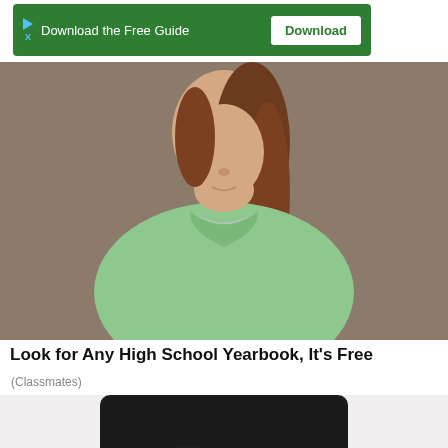[Figure (screenshot): Green advertisement banner with play/close icon, text 'Download the Free Guide', and a white 'Download' button]
[Figure (photo): Photo of a woman with brown hair in a green sweater, torso cropped, against a tan/brown background]
Look for Any High School Yearbook, It's Free
(Classmates)
[Figure (photo): Medical illustration of hip/pelvis pain — person in black shirt and blue pants holding hip area with X-ray overlay showing pelvic bones and red pain indicators with concentric circles]